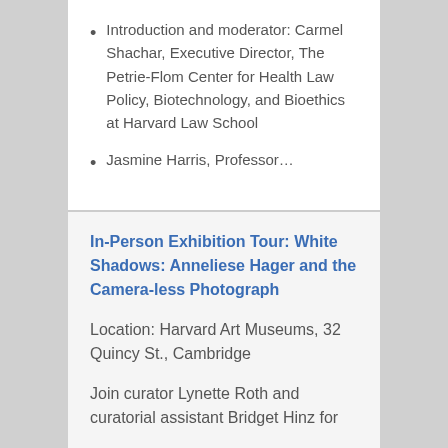Introduction and moderator: Carmel Shachar, Executive Director, The Petrie-Flom Center for Health Law Policy, Biotechnology, and Bioethics at Harvard Law School
Jasmine Harris, Professor…
In-Person Exhibition Tour: White Shadows: Anneliese Hager and the Camera-less Photograph
Location: Harvard Art Museums, 32 Quincy St., Cambridge
Join curator Lynette Roth and curatorial assistant Bridget Hinz for